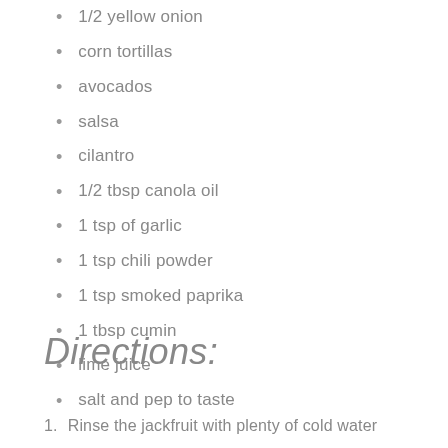1/2 yellow onion
corn tortillas
avocados
salsa
cilantro
1/2 tbsp canola oil
1 tsp of garlic
1 tsp chili powder
1 tsp smoked paprika
1 tbsp cumin
lime juice
salt and pep to taste
Directions:
1. Rinse the jackfruit with plenty of cold water